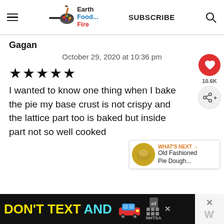Earth Food... Fire — SUBSCRIBE
Gagan
October 29, 2020 at 10:36 pm
★★★★★
I wanted to know one thing when I bake the pie my base crust is not crispy and the lattice part too is baked but inside part not so well cooked
[Figure (other): WHAT'S NEXT → Old Fashioned Pie Dough... thumbnail with pie crust image]
[Figure (other): DON'T TEXT AND [car graphic] ad banner by NHTSA]